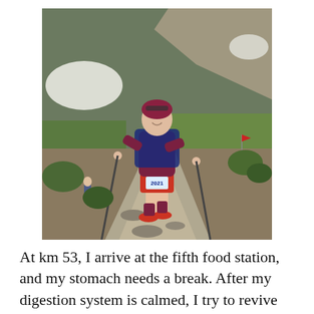[Figure (photo): A trail runner wearing bib number 2021, a maroon top, red shorts, and red shoes, running uphill on a rocky mountain trail with trekking poles. Snow patches and green vegetation are visible on the surrounding hillside. Another runner is visible in the background.]
At km 53, I arrive at the fifth food station, and my stomach needs a break. After my digestion system is calmed, I try to revive myself with